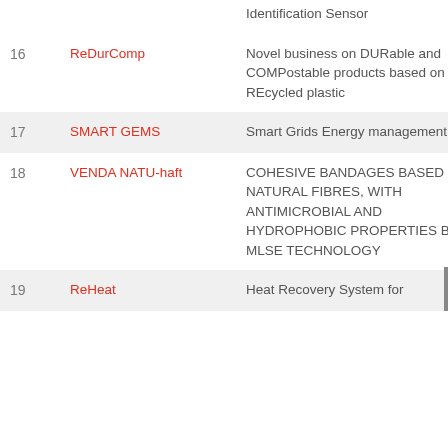| # | Name | Description |
| --- | --- | --- |
|  |  | Identification Sensor |
| 16 | ReDurComp | Novel business on DURable and COMPostable products based on REcycled plastic |
| 17 | SMART GEMS | Smart Grids Energy management Staff |
| 18 | VENDA NATU-haft | COHESIVE BANDAGES BASED ON NATURAL FIBRES, WITH ANTIMICROBIAL AND HYDROPHOBIC PROPERTIES BY MLSE TECHNOLOGY |
| 19 | ReHeat | Heat Recovery System for |